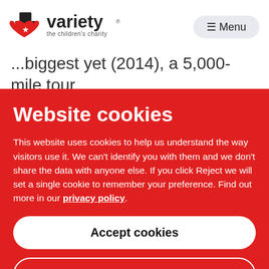[Figure (logo): Variety the children's charity logo with heart and top hat]
☰ Menu
...biggest yet (2014), a 5,000-mile tour of the UK that the 620-strong pub
Website cookies
This website uses cookies to help us understand the way visitors use it. We can't identify you with them and we don't share the data with anyone else. If you click Reject we will set a single cookie to remember your preference. Find out more in our privacy policy.
Accept cookies
Reject cookies